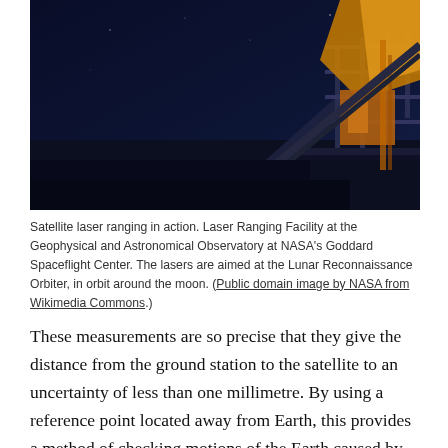[Figure (photo): Night photograph of the Laser Ranging Facility at NASA's Goddard Space Flight Center. The image shows structural metalwork and railings of the observatory building illuminated in orange/yellow against a deep dark blue night sky.]
Satellite laser ranging in action. Laser Ranging Facility at the Geophysical and Astronomical Observatory at NASA's Goddard Spaceflight Center. The lasers are aimed at the Lunar Reconnaissance Orbiter, in orbit around the moon. (Public domain image by NASA from Wikimedia Commons.)
These measurements are so precise that they give the distance from the ground station to the satellite to an uncertainty of less than one millimetre. By using a reference point located away from Earth, this provides a method of checking motions of the Earth caused by weather systems, earthquakes, isostatic rebound (the